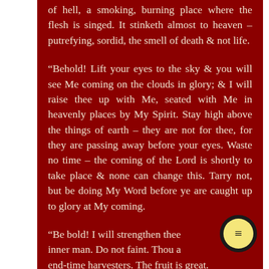of hell, a smoking, burning place where the flesh is singed. It stinketh almost to heaven – putrefying, sordid, the smell of death & not life.
“Behold! Lift your eyes to the sky & you will see Me coming on the clouds in glory; & I will raise thee up with Me, seated with Me in heavenly places by My Spirit. Stay high above the things of earth – they are not for thee, for they are passing away before your eyes. Waste no time – the coming of the Lord is shortly to take place & none can change this. Tarry not, but be doing My Word before ye are caught up to glory at My coming.
“Be bold! I will strengthen thee … inner man. Do not faint. Thou a… end-time harvesters. The fruit is great.